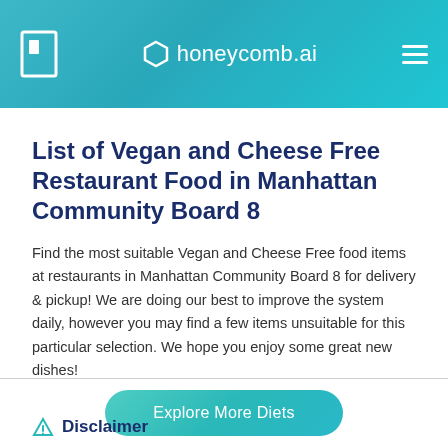honeycomb.ai
List of Vegan and Cheese Free Restaurant Food in Manhattan Community Board 8
Find the most suitable Vegan and Cheese Free food items at restaurants in Manhattan Community Board 8 for delivery & pickup! We are doing our best to improve the system daily, however you may find a few items unsuitable for this particular selection. We hope you enjoy some great new dishes!
Explore More Diets
Disclaimer